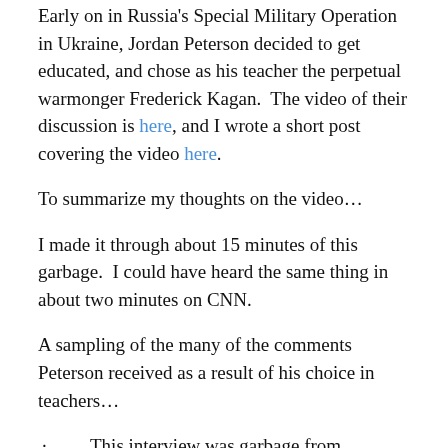Early on in Russia's Special Military Operation in Ukraine, Jordan Peterson decided to get educated, and chose as his teacher the perpetual warmonger Frederick Kagan.  The video of their discussion is here, and I wrote a short post covering the video here.
To summarize my thoughts on the video…
I made it through about 15 minutes of this garbage.  I could have heard the same thing in about two minutes on CNN.
A sampling of the many of the comments Peterson received as a result of his choice in teachers…
·        This interview was garbage from beginning to end.
·        NATO is not only a defensive alliance, it bombed Yugoslavia with no attacks from it on NATO members